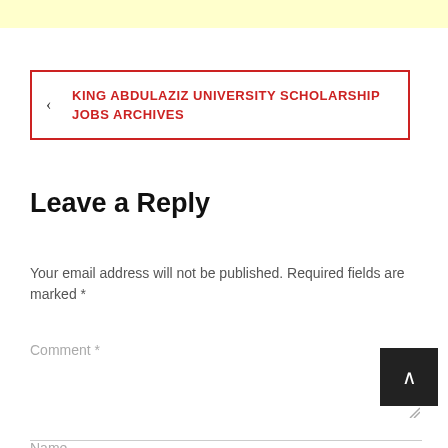[Figure (other): Yellow banner bar at top of page]
< KING ABDULAZIZ UNIVERSITY SCHOLARSHIP JOBS ARCHIVES
Leave a Reply
Your email address will not be published. Required fields are marked *
Comment *
Name